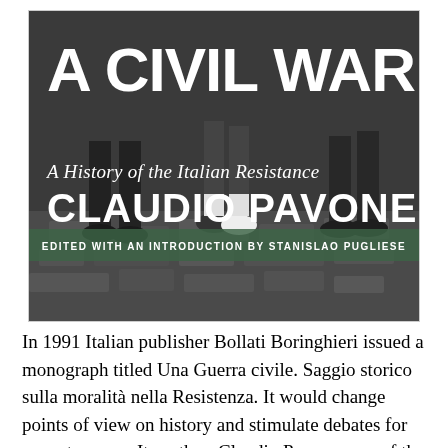[Figure (photo): Book cover of 'A Civil War: A History of the Italian Resistance' by Claudio Pavone. Black and white photograph showing legs and feet of people walking on a cobblestone street. Bold white text overlays the image with the title 'A CIVIL WAR', subtitle 'A History of the Italian Resistance', and author name 'CLAUDIO PAVONE'. A green band reads 'EDITED WITH AN INTRODUCTION BY STANISLAO PUGLIESE'.]
In 1991 Italian publisher Bollati Boringhieri issued a monograph titled Una Guerra civile. Saggio storico sulla moralità nella Resistenza. It would change points of view on history and stimulate debates for years to come. Its author, Claudio Pavone, one of the finest Italian historians, died last week, aged 95